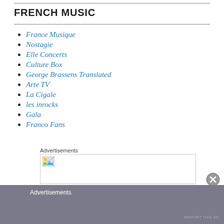FRENCH MUSIC
France Musique
Nostagie
Elle Concerts
Culture Box
George Brassens Translated
Arte TV
La Cigale
les inrocks
Gala
Franco Fans
Advertisements
[Figure (other): Advertisement placeholder image box with broken image icon]
Advertisements
REPORT THIS AD